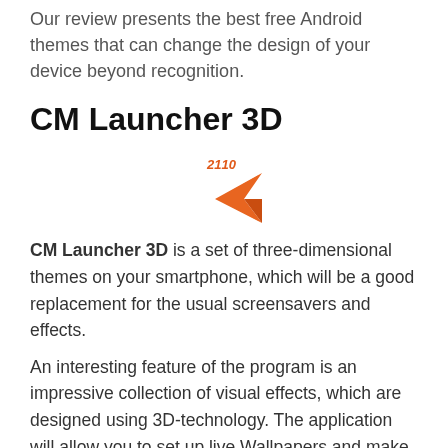Our review presents the best free Android themes that can change the design of your device beyond recognition.
CM Launcher 3D
[Figure (logo): CM Launcher 3D app logo showing an orange arrow/chevron shape pointing left with '2110' text above it in orange]
CM Launcher 3D is a set of three-dimensional themes on your smartphone, which will be a good replacement for the usual screensavers and effects.
An interesting feature of the program is an impressive collection of visual effects, which are designed using 3D-technology. The application will allow you to set up live Wallpapers and make the startup screen stylish and individual. Become a